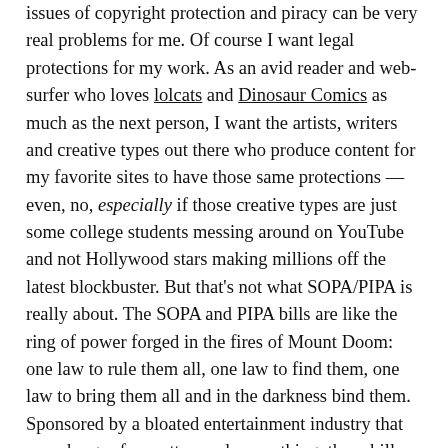issues of copyright protection and piracy can be very real problems for me. Of course I want legal protections for my work. As an avid reader and web-surfer who loves lolcats and Dinosaur Comics as much as the next person, I want the artists, writers and creative types out there who produce content for my favorite sites to have those same protections — even, no, especially if those creative types are just some college students messing around on YouTube and not Hollywood stars making millions off the latest blockbuster. But that's not what SOPA/PIPA is really about. The SOPA and PIPA bills are like the ring of power forged in the fires of Mount Doom: one law to rule them all, one law to find them, one law to bring them all and in the darkness bind them. Sponsored by a bloated entertainment industry that overcharges for pretty much everything, these bills would put in place the kind of invasive oversight infrastructure that would not only allow large corporations to sue technology start-ups and independent artists out of existence based on